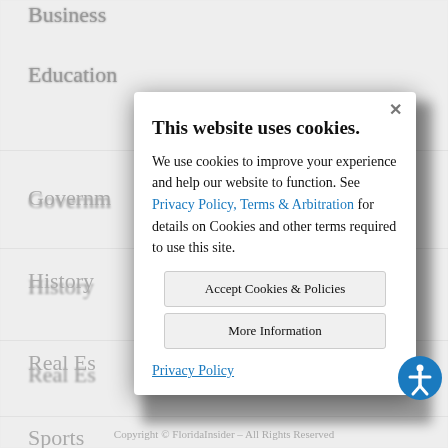Business
Education
Governm…
History
Real Es…
Sports
Travel
Weathe…
This website uses cookies.
We use cookies to improve your experience and help our website to function. See Privacy Policy, Terms & Arbitration for details on Cookies and other terms required to use this site.
Accept Cookies & Policies
More Information
Privacy Policy
Copyright © FloridaInsider – All Rights Reserved